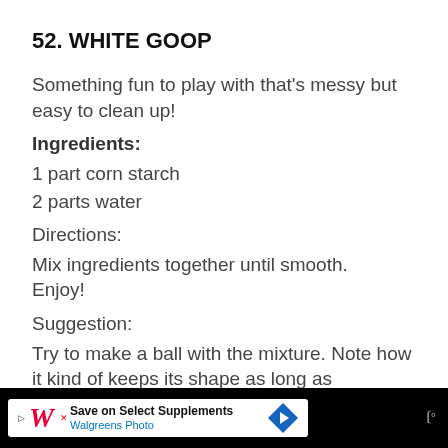52. WHITE GOOP
Something fun to play with that's messy but easy to clean up!
Ingredients:
1 part corn starch
2 parts water
Directions:
Mix ingredients together until smooth. Enjoy!
Suggestion:
Try to make a ball with the mixture. Note how it kind of keeps its shape as long as
Save on Select Supplements — Walgreens Photo (advertisement)